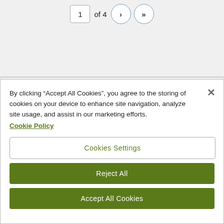[Figure (screenshot): Pagination control showing page 1 of 4 with next and last page navigation buttons]
By clicking “Accept All Cookies”, you agree to the storing of cookies on your device to enhance site navigation, analyze site usage, and assist in our marketing efforts. Cookie Policy
Cookies Settings
Reject All
Accept All Cookies